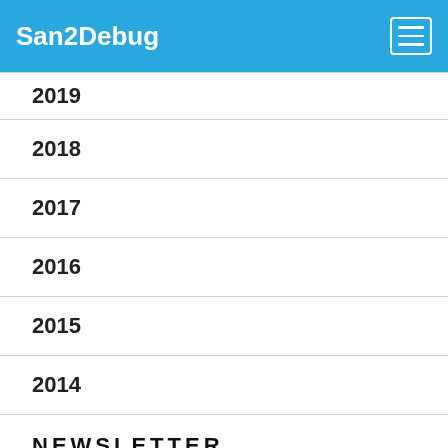San2Debug
2019
2018
2017
2016
2015
2014
NEWSLETTER
Get notified when a new post is published.
Enter your e-mail